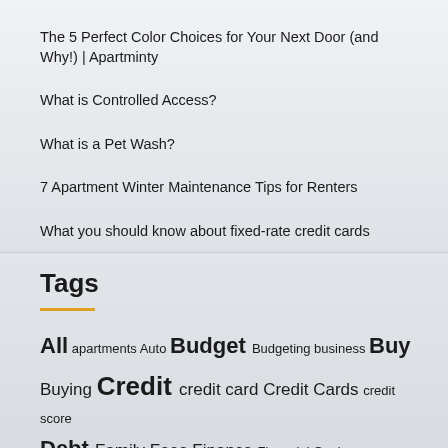The 5 Perfect Color Choices for Your Next Door (and Why!) | Apartminty
What is Controlled Access?
What is a Pet Wash?
7 Apartment Winter Maintenance Tips for Renters
What you should know about fixed-rate credit cards
Tags
All apartments Auto Budget Budgeting business Buy Buying Credit credit card Credit Cards credit score Debt Family Fees Finance Financial Goals Financial Wize FinancialWize...